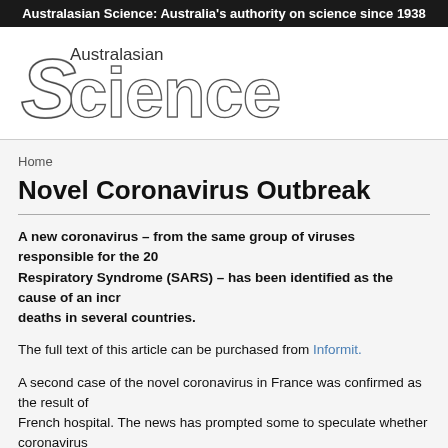Australasian Science: Australia's authority on science since 1938
[Figure (logo): Australasian Science magazine logo — stylized 3D text reading 'Australasian Science' with a large decorative 'S']
Home
Novel Coronavirus Outbreak
A new coronavirus – from the same group of viruses responsible for the 2003 Severe Acute Respiratory Syndrome (SARS) – has been identified as the cause of an increasing number of deaths in several countries.
The full text of this article can be purchased from Informit.
A second case of the novel coronavirus in France was confirmed as the result of transmission in a French hospital. The news has prompted some to speculate whether coronavirus could trigger a pandemic.
----------